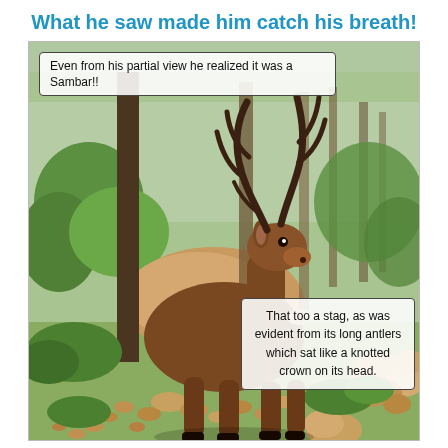What he saw made him catch his breath!
[Figure (illustration): Illustration of a Sambar stag standing in a forest clearing. The deer has large branching antlers and brown fur. The background shows tall trees, green foliage, rocks, and dappled forest light. Two text captions are overlaid on the image: one at the top-left reading 'Even from his partial view he realized it was a Sambar!!' and one at the bottom-right reading 'That too a stag, as was evident from its long antlers which sat like a knotted crown on its head.']